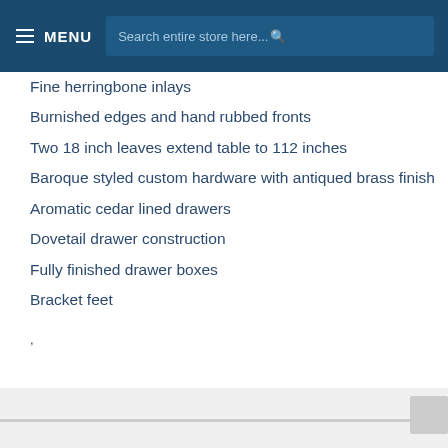MENU | Search entire store here...
Fine herringbone inlays
Burnished edges and hand rubbed fronts
Two 18 inch leaves extend table to 112 inches
Baroque styled custom hardware with antiqued brass finish
Aromatic cedar lined drawers
Dovetail drawer construction
Fully finished drawer boxes
Bracket feet
,
,
Set Includes: Dining Table, 4- Side chairs, and 2-Arm Chairs